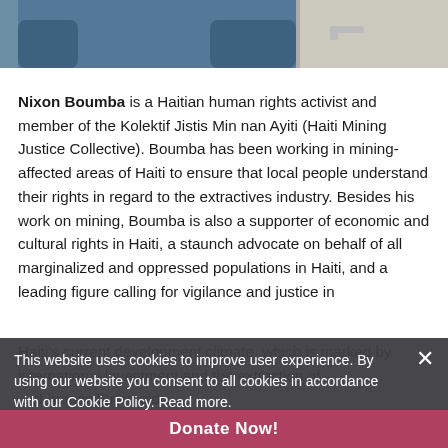[Figure (photo): Partial photo of a person in blue clothing near a door with a handle]
Nixon Boumba is a Haitian human rights activist and member of the Kolektif Jistis Min nan Ayiti (Haiti Mining Justice Collective). Boumba has been working in mining-affected areas of Haiti to ensure that local people understand their rights in regard to the extractives industry. Besides his work on mining, Boumba is also a supporter of economic and cultural rights in Haiti, a staunch advocate on behalf of all marginalized and oppressed populations in Haiti, and a leading figure calling for vigilance and justice in Haiti's current development climate, which is marked by ...
This website uses cookies to improve user experience. By using our website you consent to all cookies in accordance with our Cookie Policy. Read more.
I agree
Deactivate cookies
Donate Now!